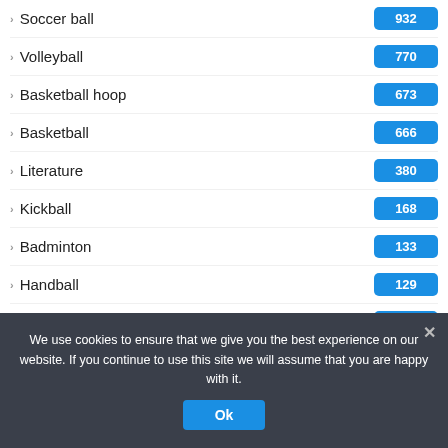Soccer ball 932
Volleyball 770
Basketball hoop 673
Basketball 666
Literature 380
Kickball 168
Badminton 133
Handball 129
Spikeball 129
Tetherball 110
Cycling 6
We use cookies to ensure that we give you the best experience on our website. If you continue to use this site we will assume that you are happy with it.